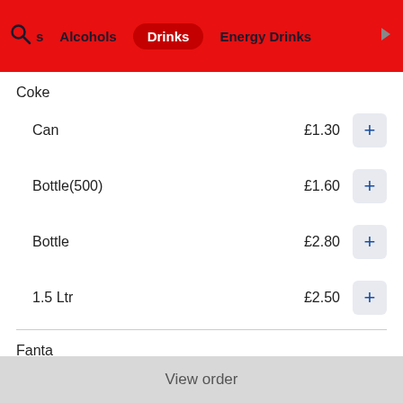s  Alcohols  Drinks  Energy Drinks
Coke
Can  £1.30
Bottle(500)  £1.60
Bottle  £2.80
1.5 Ltr  £2.50
Fanta
Can  £1.30
View order